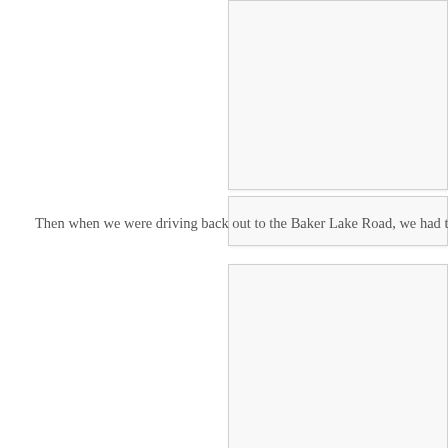[Figure (photo): Partial photo or image at the top right of the page, cropped, showing a light interior or outdoor scene with white/light tones.]
[Figure (photo): Narrow partial image strip in the middle right, a continuation or separate cropped image.]
Then when we were driving back out to the Baker Lake Road, we had the thr
[Figure (photo): Large partial photo at the bottom right of the page, cropped, showing a light-toned scene.]